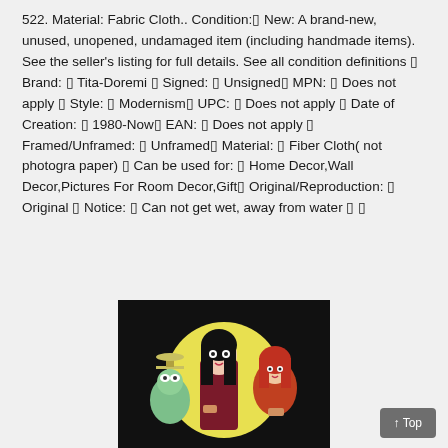522. Material: Fabric Cloth.. Condition:▯ New: A brand-new, unused, unopened, undamaged item (including handmade items). See the seller's listing for full details. See all condition definitions ▯ Brand: ▯ Tita-Doremi ▯ Signed: ▯ Unsigned▯ MPN: ▯ Does not apply ▯ Style: ▯ Modernism▯ UPC: ▯ Does not apply ▯ Date of Creation: ▯ 1980-Now▯ EAN: ▯ Does not apply ▯ Framed/Unframed: ▯ Unframed▯ Material: ▯ Fiber Cloth( not photogra paper) ▯ Can be used for: ▯ Home Decor,Wall Decor,Pictures For Room Decor,Gift▯ Original/Reproduction: ▯ Original ▯ Notice: ▯ Can not get wet, away from water ▯ ▯
[Figure (photo): An illustration on fabric cloth showing cartoon-style characters: a small green creature on the left, a tall dark-haired woman in the center, and a red-haired character on the right, all set against a yellow circular background on a black field.]
↑ Top